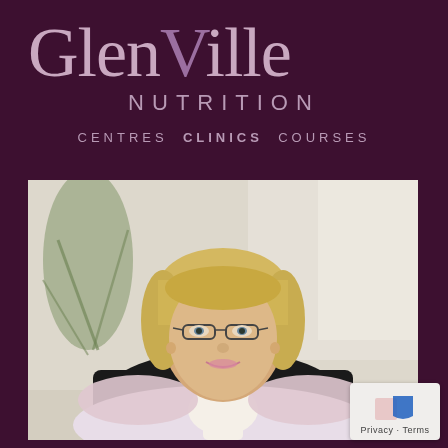[Figure (logo): Glenville Nutrition logo with tagline CENTRES CLINICS COURSES on dark purple background]
[Figure (photo): Professional portrait photo of a blonde woman wearing glasses, seated in a black leather chair, wearing a light pink blazer with white scarf, smiling at camera. Background shows a light interior with plant.]
[Figure (other): Google reCAPTCHA privacy badge in bottom-right corner showing Privacy - Terms text]